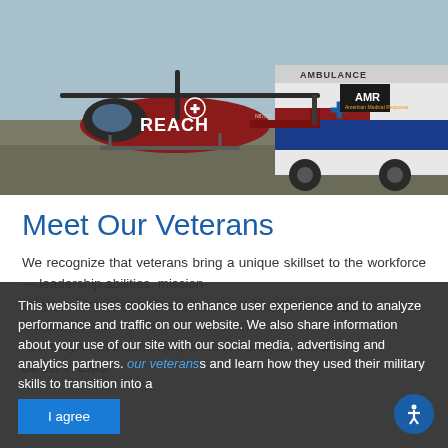[Figure (photo): A red REACH medical helicopter on the ground next to a white AMR (American Medical Response) ambulance on a tarmac/airfield. The helicopter has a star of life symbol and 'REACH' written on it. The ambulance is white with red, white, and blue markings and AMR logo.]
Meet Our Veterans
We recognize that veterans bring a unique skillset to the workforce — leadership abilities, mission-driven environments. These are the skills we're looking for enhancements. Meet our veterans and learn how they used their military skills to transition into a career in EMS.
This website uses cookies to enhance user experience and to analyze performance and traffic on our website. We also share information about your use of our site with our social media, advertising and analytics partners. our veterans and learn how they used their military skills to transition into a career in EMS.